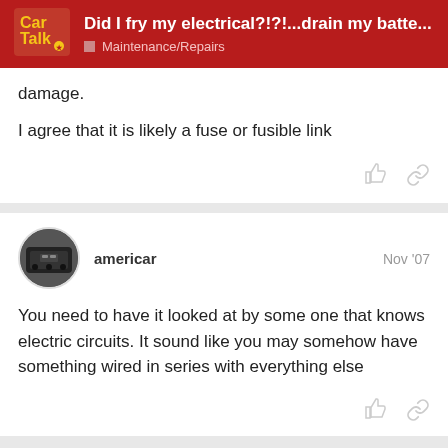Did I fry my electrical?!?!...drain my batte... | Maintenance/Repairs
damage.
I agree that it is likely a fuse or fusible link
americar — Nov '07
You need to have it looked at by some one that knows electric circuits. It sound like you may somehow have something wired in series with everything else